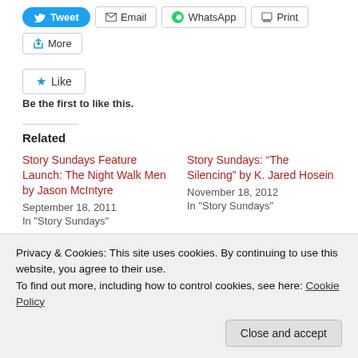[Figure (screenshot): Social share buttons: Tweet (blue), Email, WhatsApp, Print]
[Figure (screenshot): More share button]
[Figure (screenshot): Like button with star icon]
Be the first to like this.
Related
Story Sundays Feature Launch: The Night Walk Men by Jason McIntyre
September 18, 2011
In "Story Sundays"
Story Sundays: “The Silencing” by K. Jared Hosein
November 18, 2012
In "Story Sundays"
Privacy & Cookies: This site uses cookies. By continuing to use this website, you agree to their use.
To find out more, including how to control cookies, see here: Cookie Policy